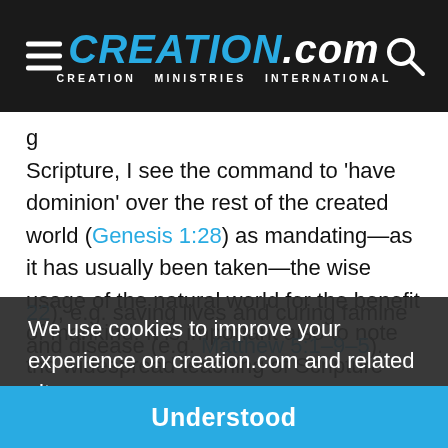CREATION.com — CREATION MINISTRIES INTERNATIONAL
Scripture, I see the command to 'have dominion' over the rest of the created world (Genesis 1:28) as mandating—as it has usually been taken—the wise usage of the natural world for the benefit of mankind. It is important also to note the widespread teaching of Scripture that it's a blessing to ameliorate the effects of the Curse on creation (Genesis 3:16–19, Romans 8:20–22), e.g. saving lives and curing famine and disease (e.g. Matthew 5:1–9–5).
We use cookies to improve your experience on creation.com and related sites. Privacy Policy
Christians generally had no problems with the idea of selective breeding to improve crops, milk output and so on—this is also 'domination of creation', but one we would seem entitled to carry out. But that does not
Understood